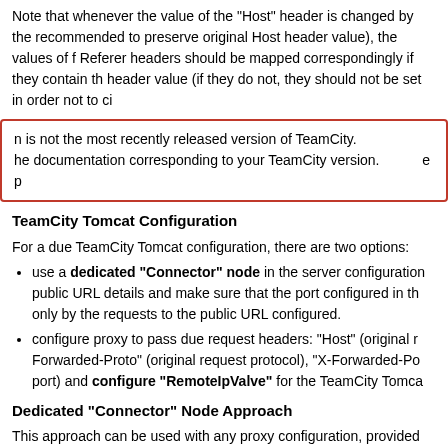Note that whenever the value of the "Host" header is changed by the recommended to preserve original Host header value), the values of f Referer headers should be mapped correspondingly if they contain th header value (if they do not, they should not be set in order not to ci
n is not the most recently released version of TeamCity. he documentation corresponding to your TeamCity version. e p
TeamCity Tomcat Configuration
For a due TeamCity Tomcat configuration, there are two options:
use a dedicated "Connector" node in the server configuration public URL details and make sure that the port configured in th only by the requests to the public URL configured.
configure proxy to pass due request headers: "Host" (original r Forwarded-Proto" (original request protocol), "X-Forwarded-Po port) and configure "RemoteIpValve" for the TeamCity Tomca
Dedicated "Connector" Node Approach
This approach can be used with any proxy configuration, provided the receiving requests only to the configured public URL.
Set up the proxying server to redirect all requests to teamcity.pub